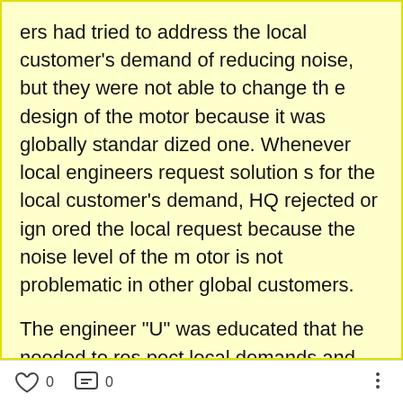ers had tried to address the local customer's demand of reducing noise, but they were not able to change the design of the motor because it was globally standardized one. Whenever local engineers request solutions for the local customer's demand, HQ rejected or ignored the local request because the noise level of the motor is not problematic in other global customers.
The engineer "U" was educated that he needed to respect local demands and culture when he was in the HQ training program for expatriating employees. He listened the local customer's voice carefully, and reported the problem to HQ's R&D center. "U" collected the local customer's test results and he conducted several